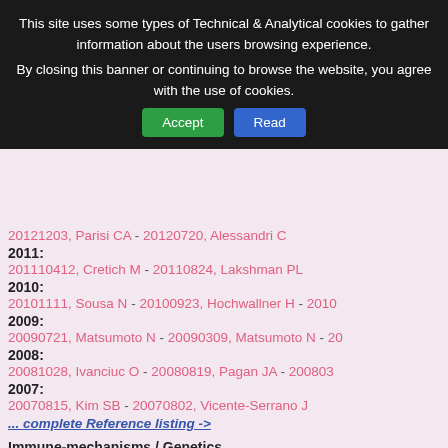This site uses some types of Technical & Analytical cookies to gather information about the users browsing experience.
By closing this banner or continuing to browse the website, you agree with the use of cookies.
20121203, Parisi CA - 20120720, Alessandri C
2011:
201110412, Cretich M - 20110824, Lakshman PL
2010:
20101111, Sousa N - 20100923, Hochwallner H - 2010...
2009:
20090721, Matsumoto N - 20090309, Matsumoto N - 20...
2008:
20081028, Ivanciuc O - 20080819, Pagan JA - 200803...
2007:
20070815, Kim SB - 20070802, Vicente-Serrano J
... complete Reference listing ->
Immune-mechanisms / Genetics
2011:
20110928, Marengo M - 20110822, Vocca I
2010:
20100115, Hsu SC
2008:
20080101, Eriksen EK
2005:
20051121, Scott-Taylor TH - 20050816, Saito M
2004:
20040814, Tanabe S
2003: